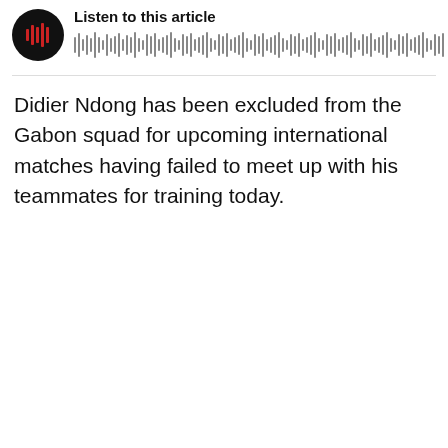[Figure (other): Audio player widget with circular play button (black circle with red sound wave bars icon) and 'Listen to this article' label above a waveform visualization of vertical bars]
Didier Ndong has been excluded from the Gabon squad for upcoming international matches having failed to meet up with his teammates for training today.